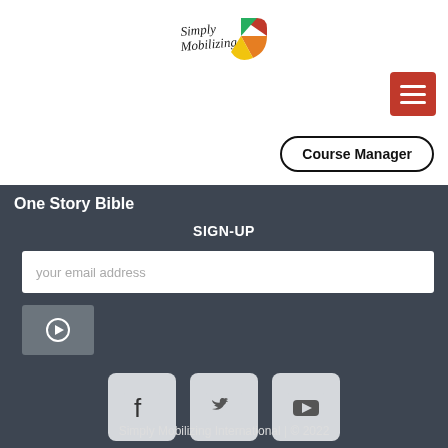[Figure (logo): Simply Mobilizing logo with colorful pinwheel icon and handwritten text]
[Figure (other): Red hamburger menu button with three white horizontal lines]
Course Manager
One Story Bible
SIGN-UP
your email address
[Figure (other): Grey submit/arrow button]
[Figure (other): Social media icons: Facebook, Twitter, YouTube]
Simply Mobilizing International | © 2022